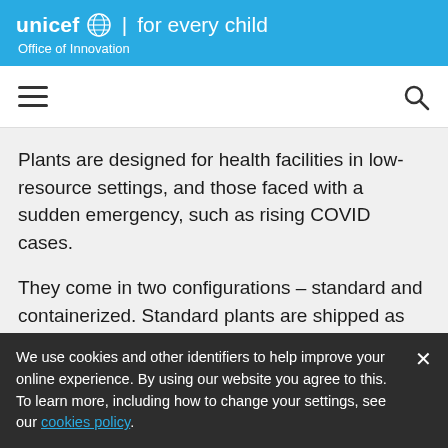unicef for every child | Office of Innovation
[Figure (screenshot): Navigation bar with hamburger menu icon on left and search icon on right]
Plants are designed for health facilities in low-resource settings, and those faced with a sudden emergency, such as rising COVID cases.
They come in two configurations – standard and containerized. Standard plants are shipped as individual pieces and installed in an existing indoor space. Containerized plants are installed in a shipping container that can be setup outside
We use cookies and other identifiers to help improve your online experience. By using our website you agree to this. To learn more, including how to change your settings, see our cookies policy.